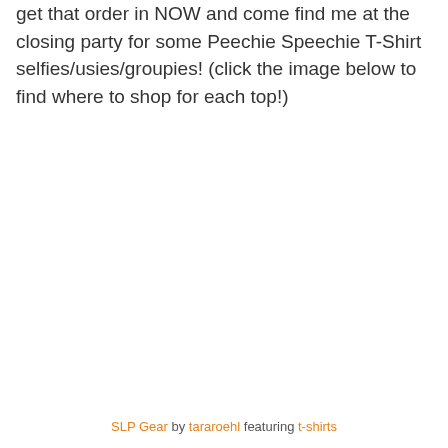get that order in NOW and come find me at the closing party for some Peechie Speechie T-Shirt selfies/usies/groupies! (click the image below to find where to shop for each top!)
SLP Gear by tararoehl featuring t-shirts